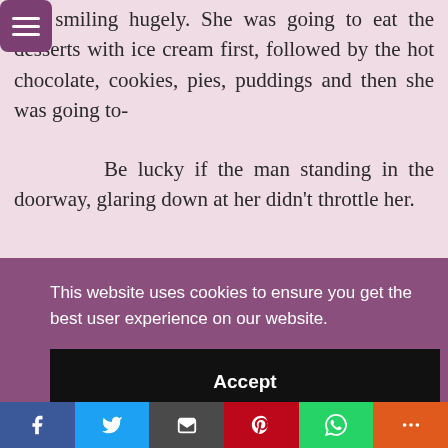[Figure (other): Purple/mauve hamburger menu button icon in top-left corner]
and smiling hugely. She was going to eat the desserts with ice cream first, followed by the hot chocolate, cookies, pies, puddings and then she was going to-

Be lucky if the man standing in the doorway, glaring down at her didn't throttle her.
This website uses cookies to ensure you get the best user experience on our website.
Accept
d as
at it
but
[Figure (other): Social media share bar at bottom with Facebook, Twitter, Email, Pinterest, WhatsApp, and More buttons]